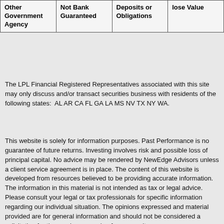| Other Government Agency | Not Bank Guaranteed | Deposits or Obligations | lose Value |
| --- | --- | --- | --- |
The LPL Financial Registered Representatives associated with this site may only discuss and/or transact securities business with residents of the following states:  AL AR CA FL GA LA MS NV TX NY WA.
This website is solely for information purposes. Past Performance is no guarantee of future returns. Investing involves risk and possible loss of principal capital. No advice may be rendered by NewEdge Advisors unless a client service agreement is in place. The content of this website is developed from resources believed to be providing accurate information. The information in this material is not intended as tax or legal advice. Please consult your legal or tax professionals for specific information regarding our individual situation. The opinions expressed and material provided are for general information and should not be considered a solicitation for the purchase or sale of any security.